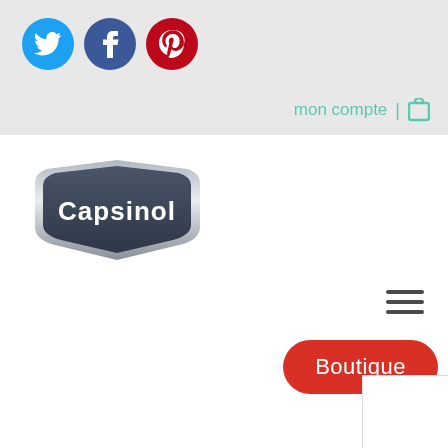[Figure (logo): Twitter bird icon - cyan circle with white bird]
[Figure (logo): Facebook f icon - dark blue circle with white f]
[Figure (logo): Pinterest P icon - red circle with white P]
mon compte | 🛒
[Figure (logo): Capsinol brand logo - dark shield shape with silver gradient and white bold text]
[Figure (other): Hamburger menu icon - three horizontal dark lines]
Boutique